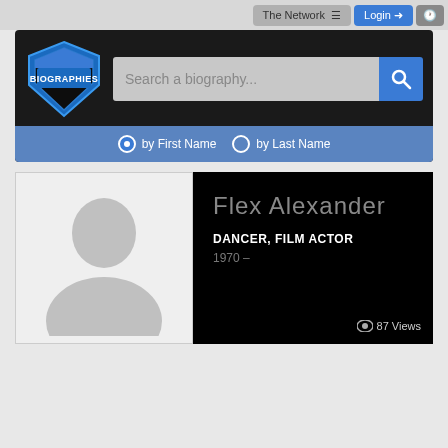The Network   Login
[Figure (logo): Biographies website header with shield logo, search bar, and radio buttons for First Name / Last Name search]
[Figure (photo): Default placeholder silhouette avatar image]
Flex Alexander
DANCER, FILM ACTOR
1970 –
87 Views